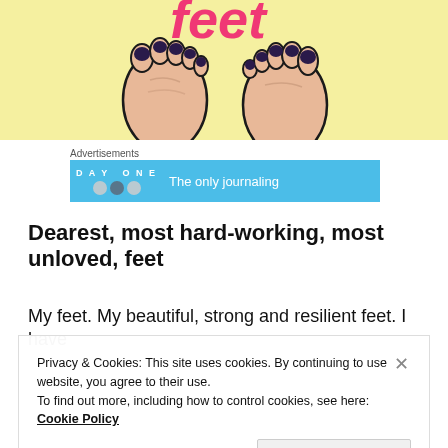[Figure (illustration): Illustrated image of two feet with dark nail polish on a yellow background, with pink stylized text partially visible at the top]
Advertisements
[Figure (screenshot): Day One app advertisement banner in blue: 'DAY ONE' logo with three circular icons, text reads 'The only journaling']
Dearest, most hard-working, most unloved, feet
My feet. My beautiful, strong and resilient feet. I have
Privacy & Cookies: This site uses cookies. By continuing to use this website, you agree to their use.
To find out more, including how to control cookies, see here: Cookie Policy
Close and accept